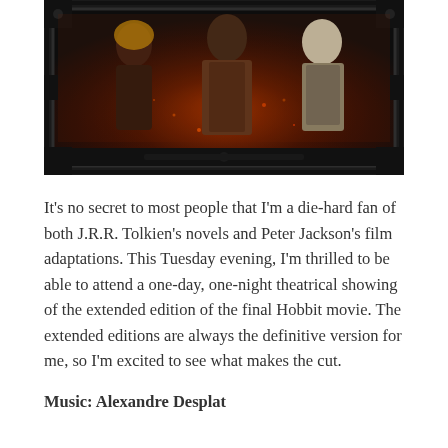[Figure (photo): Movie poster-style image showing three characters from The Hobbit film in dark, dramatic lighting with fire/ember effects. Characters appear to be Tauriel, Bard, and another character. Image is framed with a dark ornate border.]
It's no secret to most people that I'm a die-hard fan of both J.R.R. Tolkien's novels and Peter Jackson's film adaptations. This Tuesday evening, I'm thrilled to be able to attend a one-day, one-night theatrical showing of the extended edition of the final Hobbit movie. The extended editions are always the definitive version for me, so I'm excited to see what makes the cut.
Music: Alexandre Desplat